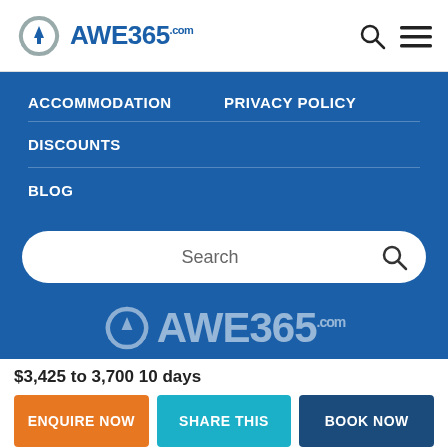[Figure (logo): AWE365.com logo with recycling arrow icon in blue and grey]
ACCOMMODATION
PRIVACY POLICY
DISCOUNTS
BLOG
[Figure (screenshot): Search bar with placeholder text 'Search' and magnifying glass icon]
[Figure (logo): AWE365.com watermark logo on blue background]
$3,425 to 3,700 10 days
ENQUIRE NOW
SHARE THIS
BOOK NOW